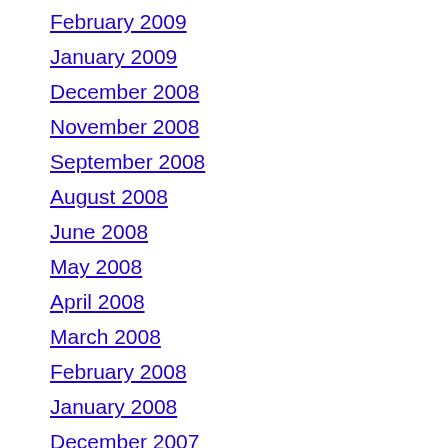February 2009
January 2009
December 2008
November 2008
September 2008
August 2008
June 2008
May 2008
April 2008
March 2008
February 2008
January 2008
December 2007
November 2007